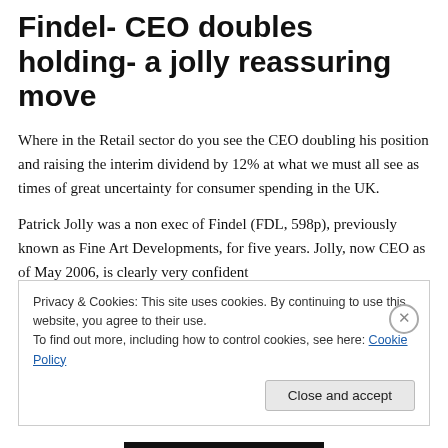Findel- CEO doubles holding- a jolly reassuring move
Where in the Retail sector do you see the CEO doubling his position and raising the interim dividend by 12% at what we must all see as times of great uncertainty for consumer spending in the UK.
Patrick Jolly was a non exec of Findel (FDL, 598p), previously known as Fine Art Developments, for five years. Jolly, now CEO as of May 2006, is clearly very confident
Privacy & Cookies: This site uses cookies. By continuing to use this website, you agree to their use.
To find out more, including how to control cookies, see here: Cookie Policy